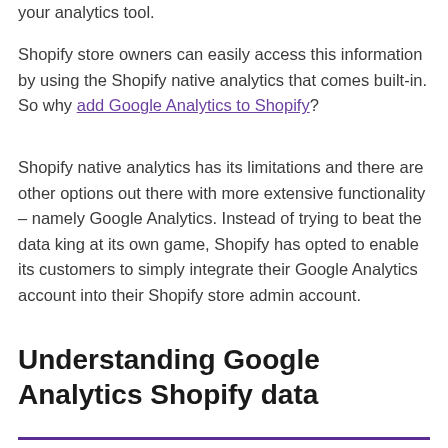your analytics tool.
Shopify store owners can easily access this information by using the Shopify native analytics that comes built-in. So why add Google Analytics to Shopify?
Shopify native analytics has its limitations and there are other options out there with more extensive functionality – namely Google Analytics. Instead of trying to beat the data king at its own game, Shopify has opted to enable its customers to simply integrate their Google Analytics account into their Shopify store admin account.
Understanding Google Analytics Shopify data